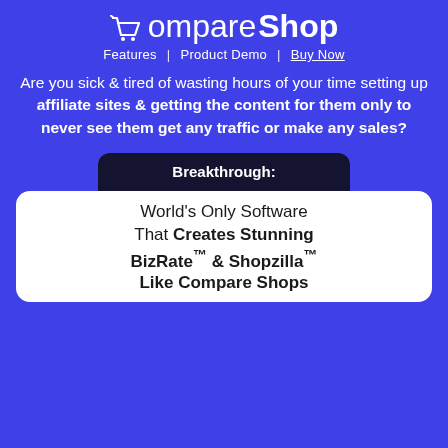CompareShop
Features | Product Demo | Buy Now
Are you sick & tired of wasting hours of your time setting up affiliate sites & getting the content for them only to never see them get any traffic or make any sales?
Breakthrough:
World's Only Software That Creates Stunning BizRate™ & Shopzilla™ Like Compare Shops